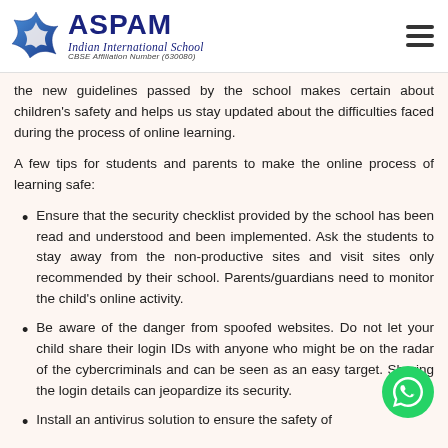ASPAM Indian International School CBSE Affiliation Number (630080)
the new guidelines passed by the school makes certain about children's safety and helps us stay updated about the difficulties faced during the process of online learning.
A few tips for students and parents to make the online process of learning safe:
Ensure that the security checklist provided by the school has been read and understood and been implemented. Ask the students to stay away from the non-productive sites and visit sites only recommended by their school. Parents/guardians need to monitor the child's online activity.
Be aware of the danger from spoofed websites. Do not let your child share their login IDs with anyone who might be on the radar of the cybercriminals and can be seen as an easy target. Sharing the login details can jeopardize its security.
Install an antivirus solution to ensure the safety of